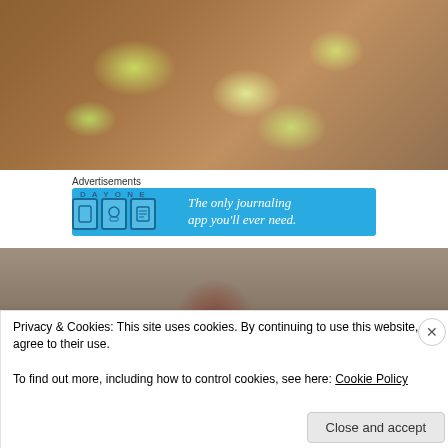[Figure (photo): Close-up overhead shot of a glass bowl containing sliced yellow squash, cucumber, and white onion in a light marinade]
Advertisements
[Figure (other): Day One journaling app advertisement banner on blue background with app icons and text 'The only journaling app you'll ever need.']
[Figure (photo): Partial view of a person with brown hair outdoors in front of a wooden fence]
Privacy & Cookies: This site uses cookies. By continuing to use this website, you agree to their use.
To find out more, including how to control cookies, see here: Cookie Policy
Close and accept